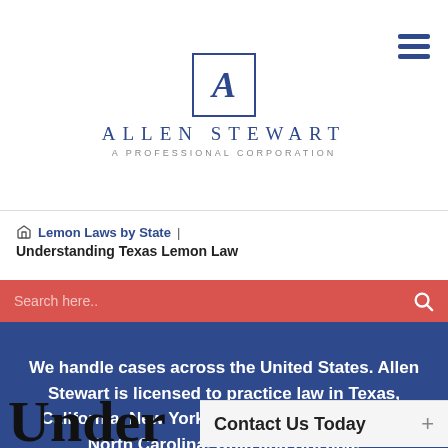[Figure (logo): Allen Stewart A Professional Corporation logo — stylized letter A in a square border, with firm name in spaced serif capitals below]
Lemon Laws by State  |  Understanding Texas Lemon Law
Search here..
We handle cases across the United States. Allen Stewart is licensed to practice law in Texas, California, New York, Pennsylvania, Missouri, North Carolina, Ohio and Arizona.
Under
Contact Us Today